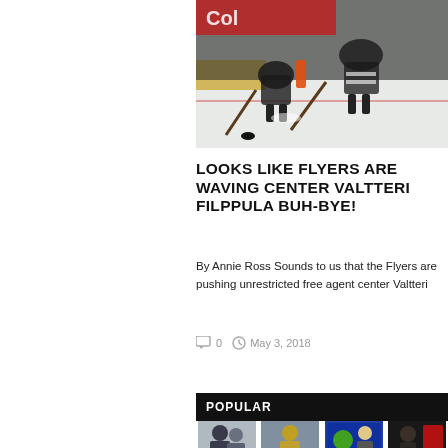[Figure (photo): Hockey players on ice, close-up action shot with puck, orange and black uniforms]
LOOKS LIKE FLYERS ARE WAVING CENTER VALTTERI FILPPULA BUH-BYE!
By Annie Ross Sounds to us that the Flyers are pushing unrestricted free agent center Valtteri
0   May 3, 2018
POPULAR
[Figure (photo): Thumbnail - JAY ...]
[Figure (photo): Thumbnail - FOR REDSKINS...]
[Figure (photo): Thumbnail - JON STEWART...]
[Figure (photo): Thumbnail - WATCH FREE M...]